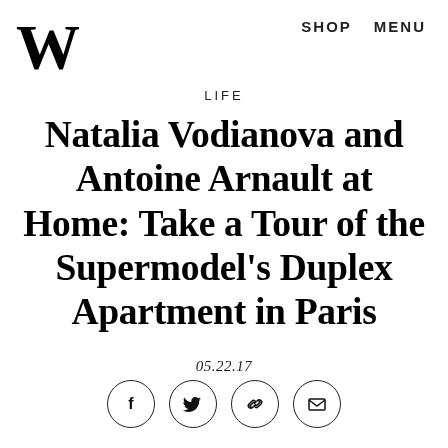W  SHOP  MENU
LIFE
Natalia Vodianova and Antoine Arnault at Home: Take a Tour of the Supermodel's Duplex Apartment in Paris
05.22.17
[Figure (other): Social sharing icons: Facebook, Twitter, Link/chain, Email — each in a circle]